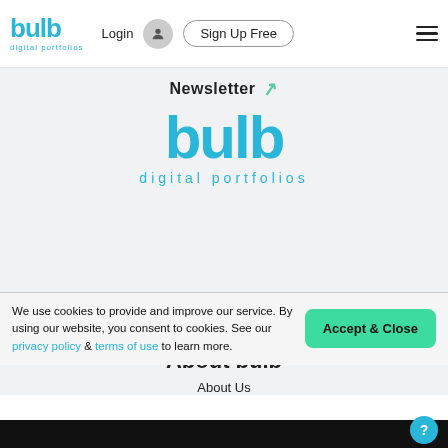[Figure (logo): Bulb digital portfolios logo in the navbar — cyan/blue 'bulb' wordmark with 'digital portfolios' subtitle]
Login
Sign Up Free
Newsletter ↗
[Figure (logo): Large bulb digital portfolios logo in cyan on light grey background]
About bulb
About Us
We use cookies to provide and improve our service. By using our website, you consent to cookies. See our privacy policy & terms of use to learn more.
Accept & Close